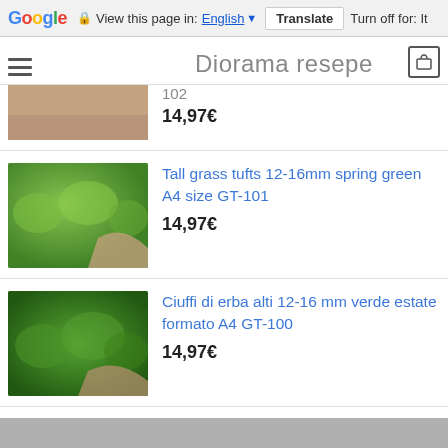Google Translate bar – View this page in: English | Translate | Turn off for: It...
Diorama resepe 102
14,97€
Tall grass tufts 12-16mm spring green A4 size GT-101
14,97€
Ciuffi di erba alti 12-16 mm verde estate formato A4 GT-100
14,97€
8/12 bushes 2/4 cm wild version 2 - medium-dark green 252-6003
13,97€